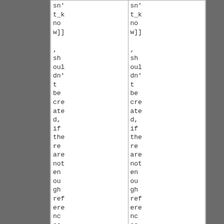| col1 | col2 |
| --- | --- |
| sn't_k now]] | sn't_k now]] |
| , shouldn't be created, if there are not enough referenc es | , shouldn't be created, if there are not enough referenc es |